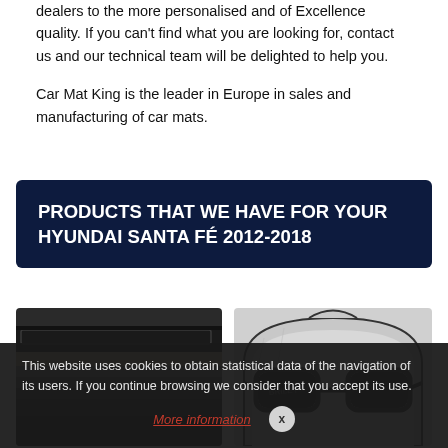dealers to the more personalised and of Excellence quality. If you can't find what you are looking for, contact us and our technical team will be delighted to help you.

Car Mat King is the leader in Europe in sales and manufacturing of car mats.
PRODUCTS THAT WE HAVE FOR YOUR HYUNDAI SANTA FÉ 2012-2018
[Figure (photo): Stacked car mats in multiple colors (black, grey, beige) showing layered textile and rubber mats]
[Figure (photo): Car windshield sun shade with printed sunglasses design, silver reflective material]
This website uses cookies to obtain statistical data of the navigation of its users. If you continue browsing we consider that you accept its use.
More information  x